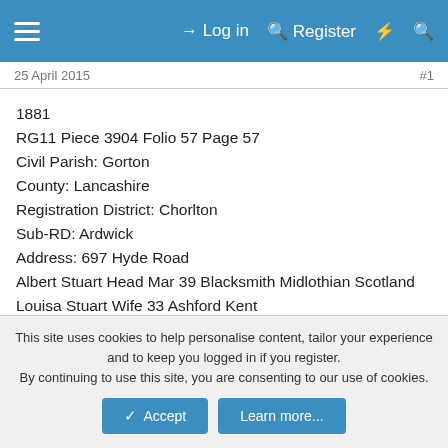≡   Log in   Register   ⚡   🔍
25 April 2015   #1
1881
RG11 Piece 3904 Folio 57 Page 57
Civil Parish: Gorton
County: Lancashire
Registration District: Chorlton
Sub-RD: Ardwick
Address: 697 Hyde Road
Albert Stuart Head Mar 39 Blacksmith Midlothian Scotland
Louisa Stuart Wife 33 Ashford Kent
Fanny Skitton dau 13 Scholar Ashford Kent
Charles Skitton son 11 Scholar Ashford Kent
Annie Skitton dau 4 Scholar Ashford Kent
John Stuart son 10 Scholar Doncaster Yorkshire
This site uses cookies to help personalise content, tailor your experience and to keep you logged in if you register.
By continuing to use this site, you are consenting to our use of cookies.
Accept   Learn more...